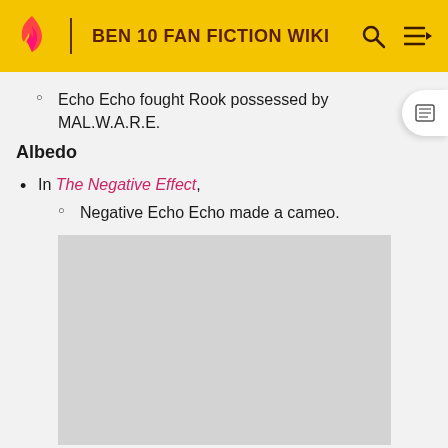BEN 10 FAN FICTION WIKI
Echo Echo fought Rook possessed by MAL.W.A.R.E.
Albedo
In The Negative Effect,
Negative Echo Echo made a cameo.
[Figure (photo): Gray placeholder image box]